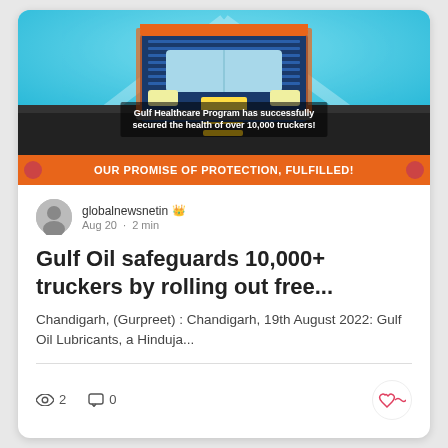[Figure (illustration): Gulf Healthcare Program promotional banner showing a truck front view on a road, with sunburst rays behind it and text 'Gulf Healthcare Program has successfully secured the health of over 10,000 truckers!' overlaid. Below the illustration is an orange banner reading 'OUR PROMISE OF PROTECTION, FULFILLED!']
globalnewsnetin  Aug 20 · 2 min
Gulf Oil safeguards 10,000+ truckers by rolling out free...
Chandigarh, (Gurpreet) : Chandigarh, 19th August 2022: Gulf Oil Lubricants, a Hinduja...
2  0